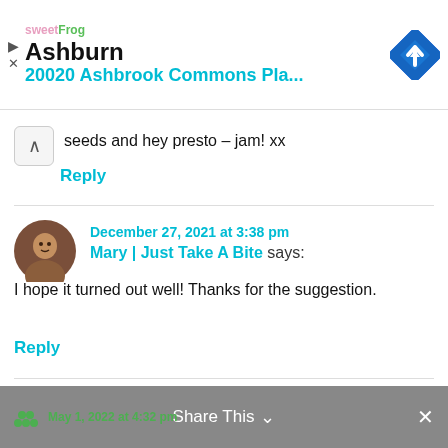[Figure (screenshot): Ad banner: sweetFrog logo, 'Ashburn' heading, '20020 Ashbrook Commons Pla...' address in teal, map/navigation diamond icon on right]
seeds and hey presto – jam! xx
Reply
December 27, 2021 at 3:38 pm
Mary | Just Take A Bite says:
I hope it turned out well! Thanks for the suggestion.
Reply
Share This   ×   May 1, 2022 at 4:32 pm